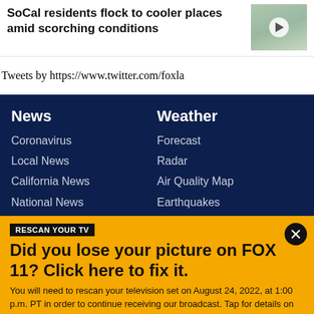SoCal residents flock to cooler places amid scorching conditions
[Figure (photo): Thumbnail image with play button overlay, appears to show an aerial view of a beach or coastline]
Tweets by https://www.twitter.com/foxla
News
Coronavirus
Local News
California News
National News
Weather
Forecast
Radar
Air Quality Map
Earthquakes
RESCAN YOUR TV
Did you lose your picture on FOX 11? Click here to fix it.
You will need to rescan your television set on August 24, 2022, at 1:00 p.m. PT in order to continue receiving our broadcast. Tap for details on how to rescan your TV.